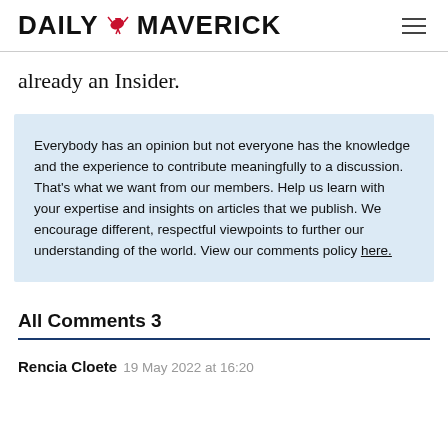DAILY MAVERICK
already an Insider.
Everybody has an opinion but not everyone has the knowledge and the experience to contribute meaningfully to a discussion. That’s what we want from our members. Help us learn with your expertise and insights on articles that we publish. We encourage different, respectful viewpoints to further our understanding of the world. View our comments policy here.
All Comments 3
Rencia Cloete 19 May 2022 at 16:20